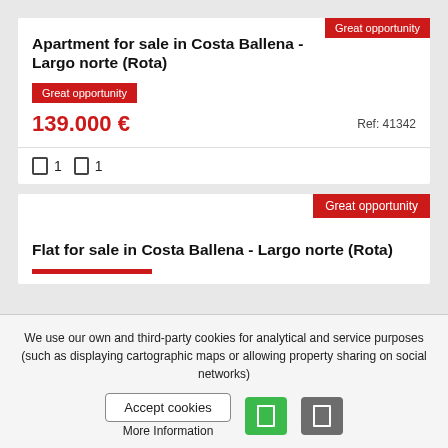Apartment for sale in Costa Ballena - Largo norte (Rota)
Great opportunity
139.000 €
Ref: 41342
1 bedroom, 1 bathroom
Flat for sale in Costa Ballena - Largo norte (Rota)
Great opportunity
We use our own and third-party cookies for analytical and service purposes (such as displaying cartographic maps or allowing property sharing on social networks)
Accept cookies
More Information